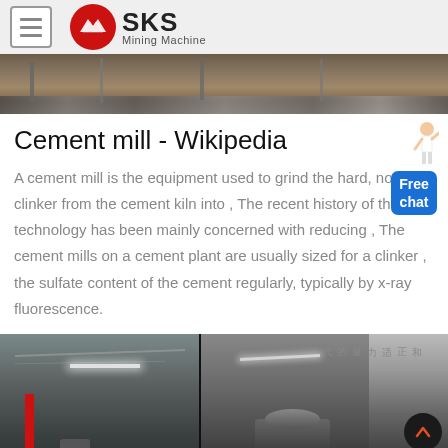SKS Mining Machine
[Figure (photo): Industrial site photo showing construction materials and debris]
Cement mill - Wikipedia
A cement mill is the equipment used to grind the hard, nodular clinker from the cement kiln into , The recent history of the technology has been mainly concerned with reducing , The cement mills on a cement plant are usually sized for a clinker , the sulfate content of the cement regularly, typically by x-ray fluorescence.
[Figure (photo): Industrial cement mill facility interior showing machinery and warehouse structure with Chinese text banners]